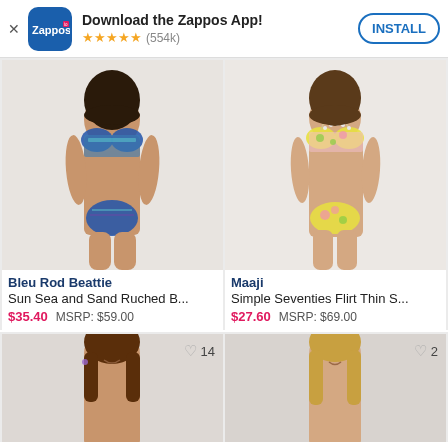[Figure (screenshot): Zappos app install banner with logo icon, 5-star rating (554k), and INSTALL button]
[Figure (photo): Model wearing Bleu Rod Beattie Sun Sea and Sand Ruched bikini in blue/teal tribal print]
Bleu Rod Beattie
Sun Sea and Sand Ruched B...
$35.40 MSRP: $59.00
[Figure (photo): Model wearing Maaji Simple Seventies Flirt Thin S... bikini in yellow/pink floral print]
Maaji
Simple Seventies Flirt Thin S...
$27.60 MSRP: $69.00
[Figure (photo): Partial view of model in bottom-left product card with heart/wishlist count 14]
[Figure (photo): Partial view of model in bottom-right product card with heart/wishlist count 2]